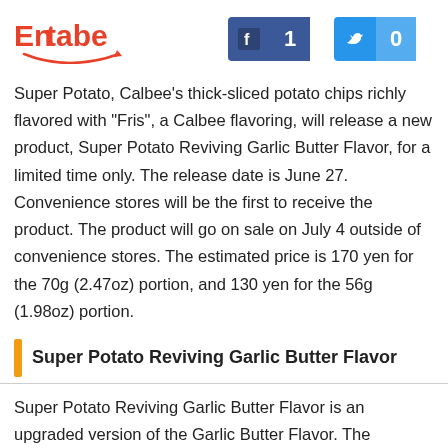[Figure (logo): Entabe logo with red text and smile arc underline]
[Figure (infographic): Facebook share button showing count 1 and Twitter share button showing count 0]
Super Potato, Calbee's thick-sliced potato chips richly flavored with "Fris", a Calbee flavoring, will release a new product, Super Potato Reviving Garlic Butter Flavor, for a limited time only. The release date is June 27. Convenience stores will be the first to receive the product. The product will go on sale on July 4 outside of convenience stores. The estimated price is 170 yen for the 70g (2.47oz) portion, and 130 yen for the 56g (1.98oz) portion.
Super Potato Reviving Garlic Butter Flavor
Super Potato Reviving Garlic Butter Flavor is an upgraded version of the Garlic Butter Flavor. The decision to re-release the garlic butter flavor was made in response to the growing popularity of garlic flavors, and in response to the many